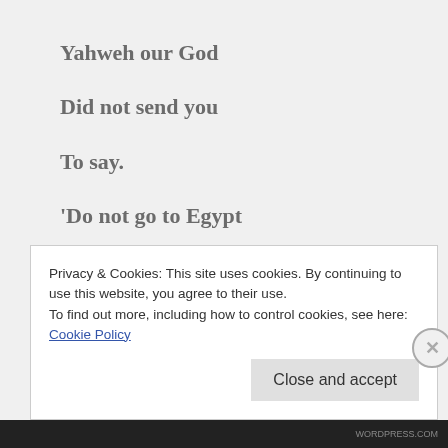Yahweh our God
Did not send you
To say.
'Do not go to Egypt
To settle there!'
Privacy & Cookies: This site uses cookies. By continuing to use this website, you agree to their use.
To find out more, including how to control cookies, see here: Cookie Policy